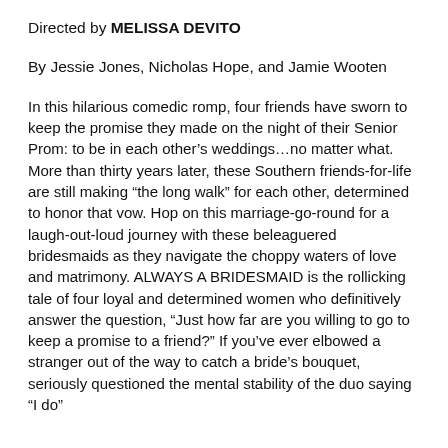Directed by MELISSA DEVITO
By Jessie Jones, Nicholas Hope, and Jamie Wooten
In this hilarious comedic romp, four friends have sworn to keep the promise they made on the night of their Senior Prom: to be in each other's weddings...no matter what. More than thirty years later, these Southern friends-for-life are still making “the long walk” for each other, determined to honor that vow. Hop on this marriage-go-round for a laugh-out-loud journey with these beleaguered bridesmaids as they navigate the choppy waters of love and matrimony. ALWAYS A BRIDESMAID is the rollicking tale of four loyal and determined women who definitively answer the question, “Just how far are you willing to go to keep a promise to a friend?” If you’ve ever elbowed a stranger out of the way to catch a bride’s bouquet, seriously questioned the mental stability of the duo saying “I do”